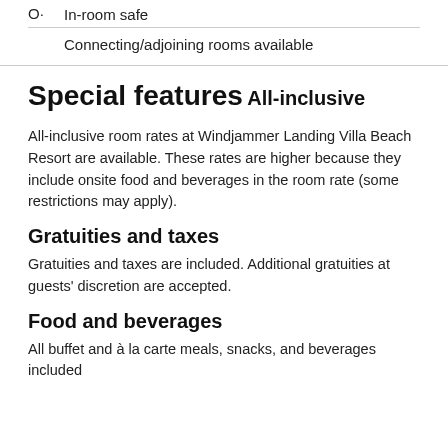In-room safe
Connecting/adjoining rooms available
Special features
All-inclusive
All-inclusive room rates at Windjammer Landing Villa Beach Resort are available. These rates are higher because they include onsite food and beverages in the room rate (some restrictions may apply).
Gratuities and taxes
Gratuities and taxes are included. Additional gratuities at guests' discretion are accepted.
Food and beverages
All buffet and à la carte meals, snacks, and beverages included